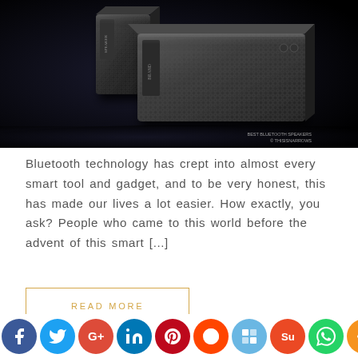[Figure (photo): Dark product photo of two sleek rectangular Bluetooth speakers with textured grid surfaces on a dark background.]
Bluetooth technology has crept into almost every smart tool and gadget, and to be very honest, this has made our lives a lot easier. How exactly, you ask? People who came to this world before the advent of this smart [...]
READ MORE
[Figure (infographic): Social sharing icon bar with icons for Facebook, Twitter, Google+, LinkedIn, Pinterest, Reddit, Delicious, StumbleUpon, WhatsApp, and More.]